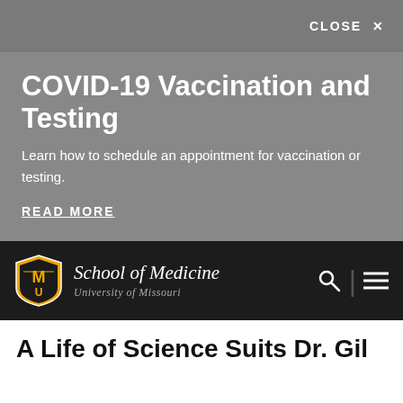CLOSE ×
COVID-19 Vaccination and Testing
Learn how to schedule an appointment for vaccination or testing.
READ MORE
[Figure (logo): University of Missouri MU shield logo with gold and black colors, next to 'School of Medicine, University of Missouri' text. Navigation icons (search and menu) on the right.]
A Life of Science Suits Dr. Gil